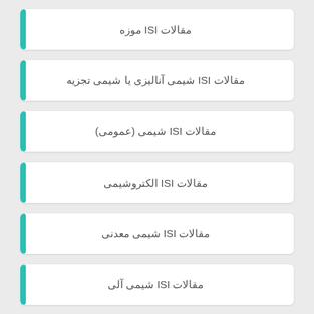مقالات ISI موزه
مقالات ISI شیمی آنالیزی یا شیمی تجزیه
مقالات ISI شیمی (عمومی)
مقالات ISI الکتروشیمی
مقالات ISI شیمی معدنی
مقالات ISI شیمی آلی